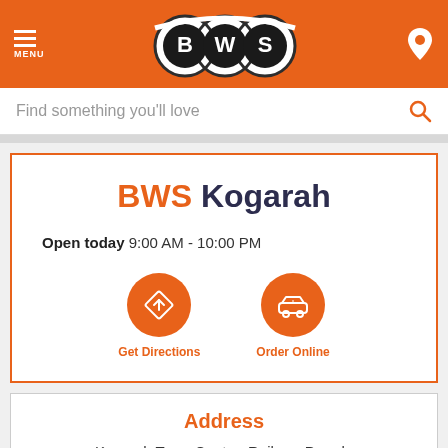[Figure (logo): BWS logo in orange header with menu button and location pin icon]
Find something you'll love
BWS Kogarah
Open today 9:00 AM - 10:00 PM
[Figure (infographic): Two orange circular buttons: Get Directions (diamond arrow icon) and Order Online (car/delivery icon)]
Address
Kogarah Town Centre, Railway Parade